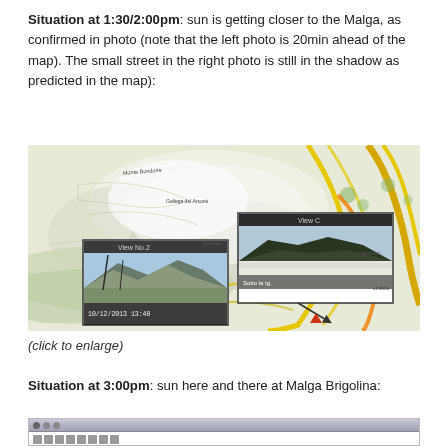Situation at 1:30/2:00pm: sun is getting closer to the Malga, as confirmed in photo (note that the left photo is 20min ahead of the map). The small street in the right photo is still in the shadow as predicted in the map):
[Figure (map): Topographic map with two overlaid photos. Left photo labeled 'View No.2' shows mountain scene with timestamp 10/12/2013 13:40. Right photo labeled 'View C' shows close-up of snow-covered ground. Map shows terrain with yellow roads, green areas, and shaded topography.]
(click to enlarge)
Situation at 3:00pm: sun here and there at Malga Brigolina:
[Figure (screenshot): Partial screenshot of a software application showing a toolbar and interface at the bottom of the page.]